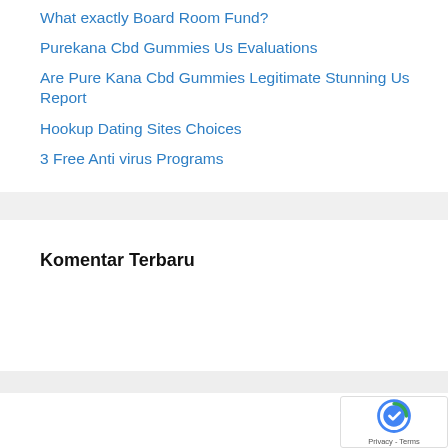What exactly Board Room Fund?
Purekana Cbd Gummies Us Evaluations
Are Pure Kana Cbd Gummies Legitimate Stunning Us Report
Hookup Dating Sites Choices
3 Free Anti virus Programs
Komentar Terbaru
[Figure (logo): reCAPTCHA badge with Google logo and Privacy - Terms text]